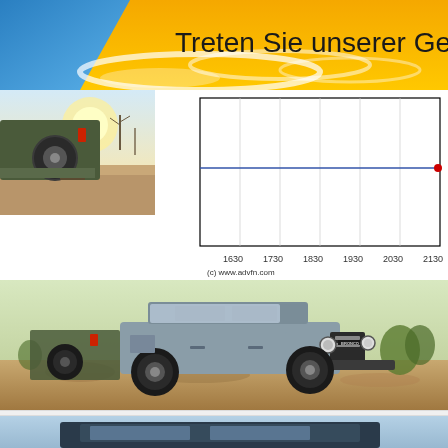Treten Sie unserer Gemeinschaft bei
[Figure (continuous-plot): Line chart showing stock/price data with a horizontal blue line ending with a red dot at approximately time 2130. X-axis shows time intervals: 1630, 1730, 1830, 1930, 2030, 2130. Chart from (c) www.advfn.com]
[Figure (photo): Ford Bronco SUV driving on a rocky desert trail, grey/blue vehicle with BRONCO branding on the grille]
[Figure (photo): Partial view of another vehicle, bottom portion of page, appears to be a car or SUV against blue sky]